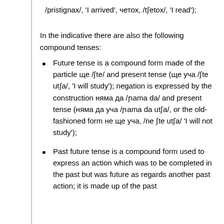/pristignax/, 'I arrived', четох, /tʃetox/, 'I read');
In the indicative there are also the following compound tenses:
Future tense is a compound form made of the particle ще /ʃte/ and present tense (ще уча /ʃte utʃa/, 'I will study'); negation is expressed by the construction няма да /ɲama da/ and present tense (няма да уча /ɲama da utʃa/, or the old-fashioned form не ще уча, /ne ʃte utʃa/ 'I will not study');
Past future tense is a compound form used to express an action which was to be completed in the past but was future as regards another past action; it is made up of the past...